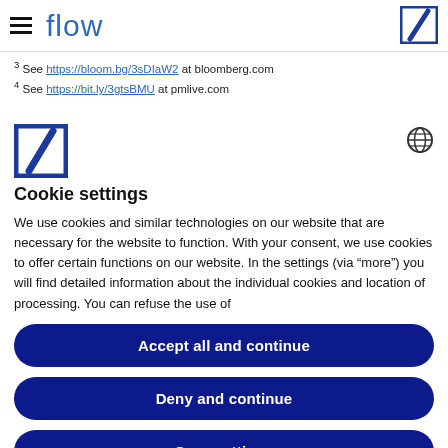flow
3 See https://bloom.bg/3sDIaW2 at bloomberg.com
4 See https://bit.ly/3gtsBMU at pmlive.com
[Figure (logo): Deutsche Bank logo (blue square with white diagonal slash) and globe/language icon]
Cookie settings
We use cookies and similar technologies on our website that are necessary for the website to function. With your consent, we use cookies to offer certain functions on our website. In the settings (via “more”) you will find detailed information about the individual cookies and location of processing. You can refuse the use of
Accept all and continue
Deny and continue
Save settings